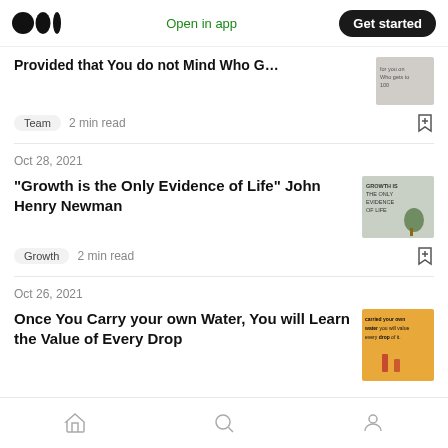Medium app header with logo, Open in app, Get started
Provided that You do not Mind Who Gets t...
Team  2 min read
Oct 28, 2021
“Growth is the Only Evidence of Life” John Henry Newman
Growth  2 min read
Oct 26, 2021
Once You Carry your own Water, You will Learn the Value of Every Drop
Bottom navigation: Home, Search, Profile